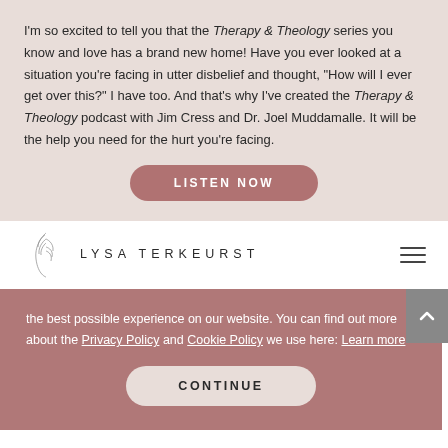I'm so excited to tell you that the Therapy & Theology series you know and love has a brand new home! Have you ever looked at a situation you're facing in utter disbelief and thought, "How will I ever get over this?" I have too. And that's why I've created the Therapy & Theology podcast with Jim Cress and Dr. Joel Muddamalle. It will be the help you need for the hurt you're facing.
[Figure (other): LISTEN NOW button - rounded rectangle, mauve/rose color]
[Figure (logo): Lysa TerKeurst logo with leaf/botanical illustration and stylized text]
the best possible experience on our website. You can find out more about the Privacy Policy and Cookie Policy we use here: Learn more
[Figure (other): CONTINUE button - light pink rounded rectangle inside cookie consent banner]
fluttering feelings or silent